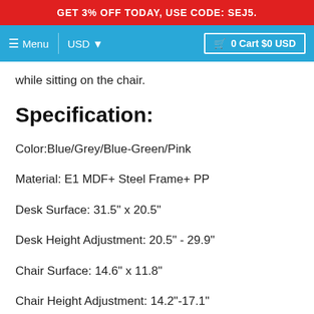GET 3% OFF TODAY, USE CODE: SEJ5.
Menu  USD  0 Cart $0 USD
while sitting on the chair.
Specification:
Color:Blue/Grey/Blue-Green/Pink
Material: E1 MDF+ Steel Frame+ PP
Desk Surface: 31.5" x 20.5"
Desk Height Adjustment: 20.5" - 29.9"
Chair Surface: 14.6" x 11.8"
Chair Height Adjustment: 14.2"-17.1"